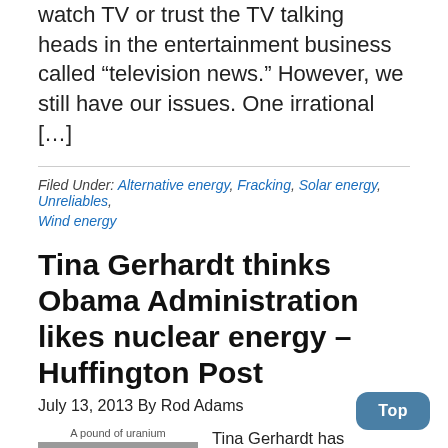watch TV or trust the TV talking heads in the entertainment business called “television news.” However, we still have our issues. One irrational [...]
Filed Under: Alternative energy, Fracking, Solar energy, Unreliables, Wind energy
Tina Gerhardt thinks Obama Administration likes nuclear energy – Huffington Post
July 13, 2013 By Rod Adams
[Figure (photo): A hand holding a small round object, captioned 'A pound of uranium']
Tina Gerhardt has published an almost sadly amusing article on the Huffington Post that...